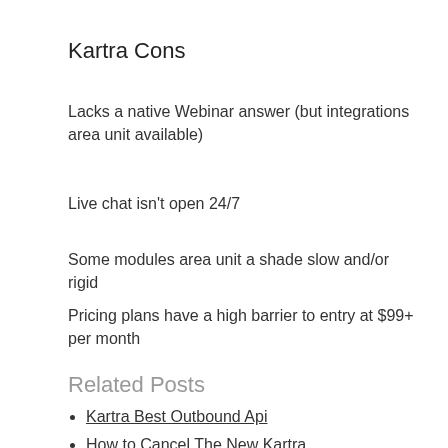Kartra Cons
Lacks a native Webinar answer (but integrations area unit available)
Live chat isn't open 24/7
Some modules area unit a shade slow and/or rigid
Pricing plans have a high barrier to entry at $99+ per month
Related Posts
Kartra Best Outbound Api
How to Cancel The New Kartra
Kartra Best Founder